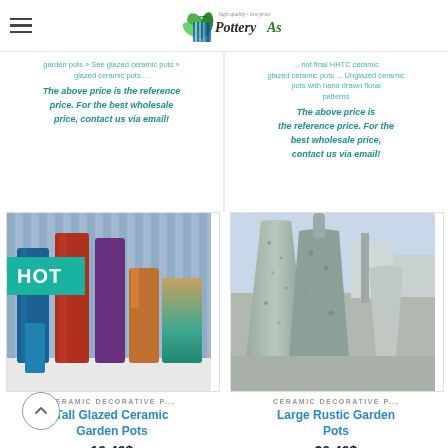Pottery Asia — navigation header with logo and hamburger menu
garden pots » See glazed ceramic pots » glazed ceramic pots ... not final HHTC ceramic pots with hand drawn floral patterns  The above price is the reference price. For the best wholesale price, contact us via email!
The above price is the reference price. For the best wholesale price, contact us via email!
[Figure (photo): Tall glazed ceramic garden pots in various colors (blue, red, purple, tan, teal) arranged on a white shelf with blue corrugated background. HOT badge in teal.]
CERAMIC DECORATIVE P...
Tall Glazed Ceramic Garden Pots
10.49$
» Tall ceramic plant pots for garden decoration » Pottery
[Figure (photo): Large rustic stone-textured garden pots in grey tones, outdoor setting with buildings in background.]
CERAMIC DECORATIVE P...
Large Rustic Garden Pots
20.49$
» Pottery pots for fountains making and garden decoration